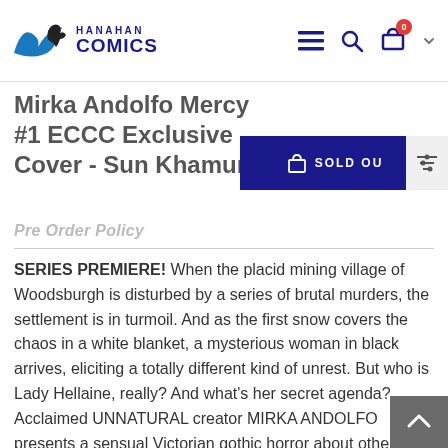Hanahan Comics — navigation bar with logo, menu, search, cart (0), chevron
Mirka Andolfo Mercy #1 ECCC Exclusive Cover - Sun Khamunaki
SOLD OUT
Pre Order Policy
SERIES PREMIERE! When the placid mining village of Woodsburgh is disturbed by a series of brutal murders, the settlement is in turmoil. And as the first snow covers the chaos in a white blanket, a mysterious woman in black arrives, eliciting a totally different kind of unrest. But who is Lady Hellaine, really? And what's her secret agenda? Acclaimed UNNATURAL creator MIRKA ANDOLFO presents a sensual Victorian gothic horror about otherness, damnation, redemption, and wha...